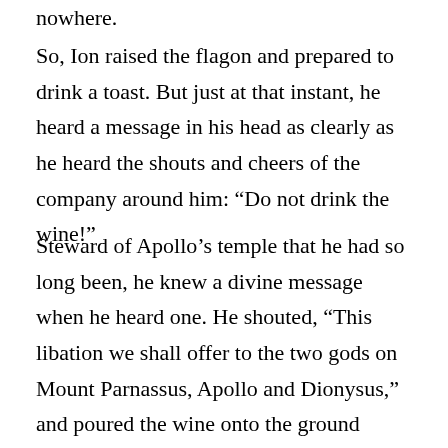nowhere.
So, Ion raised the flagon and prepared to drink a toast. But just at that instant, he heard a message in his head as clearly as he heard the shouts and cheers of the company around him: “Do not drink the wine!”
Steward of Apollo’s temple that he had so long been, he knew a divine message when he heard one. He shouted, “This libation we shall offer to the two gods on Mount Parnassus, Apollo and Dionysus,” and poured the wine onto the ground before him. His companions were surprised and a little consternated, but they followed his lead.